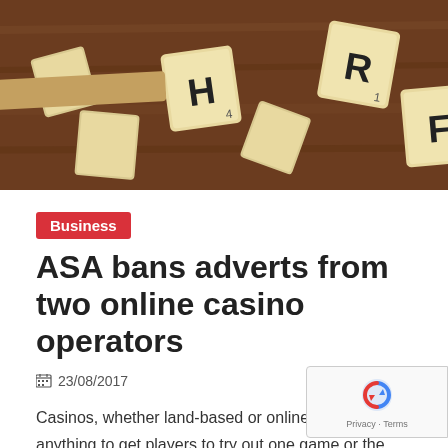[Figure (photo): Scrabble letter tiles on a wooden surface, showing letters H, R, and F among scattered tiles]
Business
ASA bans adverts from two online casino operators
23/08/2017
Casinos, whether land-based or online, will do anything to get players to try out one game or the other. The number of online casinos available
Continue Reading